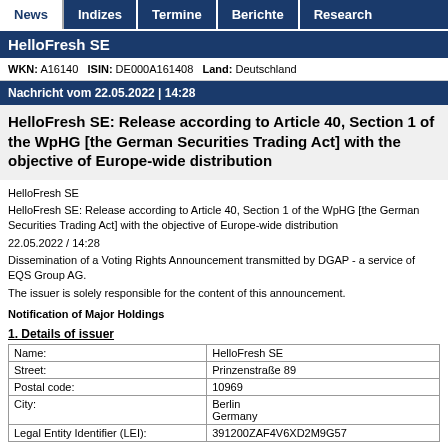News | Indizes | Termine | Berichte | Research
HelloFresh SE
WKN: A16140  ISIN: DE000A161408  Land: Deutschland
Nachricht vom 22.05.2022 | 14:28
HelloFresh SE: Release according to Article 40, Section 1 of the WpHG [the German Securities Trading Act] with the objective of Europe-wide distribution
HelloFresh SE
HelloFresh SE: Release according to Article 40, Section 1 of the WpHG [the German Securities Trading Act] with the objective of Europe-wide distribution
22.05.2022 / 14:28
Dissemination of a Voting Rights Announcement transmitted by DGAP - a service of EQS Group AG.
The issuer is solely responsible for the content of this announcement.
Notification of Major Holdings
1. Details of issuer
|  |  |
| --- | --- |
| Name: | HelloFresh SE |
| Street: | Prinzenstraße 89 |
| Postal code: | 10969 |
| City: | Berlin
Germany |
| Legal Entity Identifier (LEI): | 391200ZAF4V6XD2M9G57 |